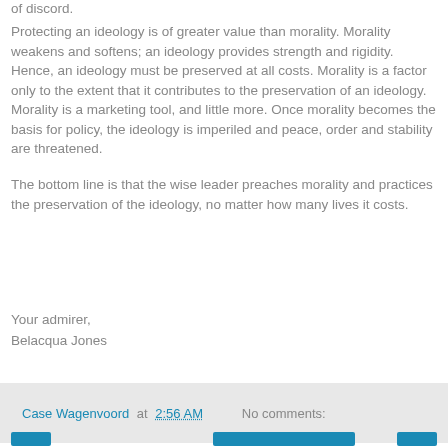of discord.
Protecting an ideology is of greater value than morality. Morality weakens and softens; an ideology provides strength and rigidity. Hence, an ideology must be preserved at all costs. Morality is a factor only to the extent that it contributes to the preservation of an ideology. Morality is a marketing tool, and little more. Once morality becomes the basis for policy, the ideology is imperiled and peace, order and stability are threatened.
The bottom line is that the wise leader preaches morality and practices the preservation of the ideology, no matter how many lives it costs.
Your admirer,
Belacqua Jones
Case Wagenvoord at 2:56 AM   No comments: